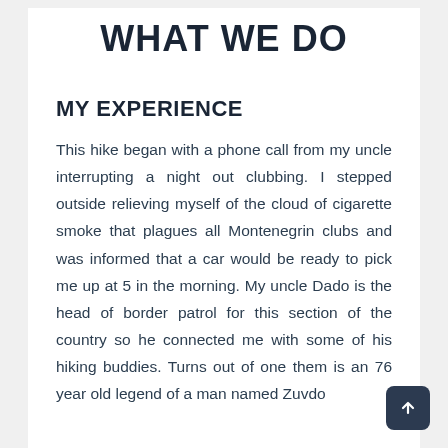WHAT WE DO
MY EXPERIENCE
This hike began with a phone call from my uncle interrupting a night out clubbing. I stepped outside relieving myself of the cloud of cigarette smoke that plagues all Montenegrin clubs and was informed that a car would be ready to pick me up at 5 in the morning. My uncle Dado is the head of border patrol for this section of the country so he connected me with some of his hiking buddies. Turns out of one them is an 76 year old legend of a man named Zuvdo